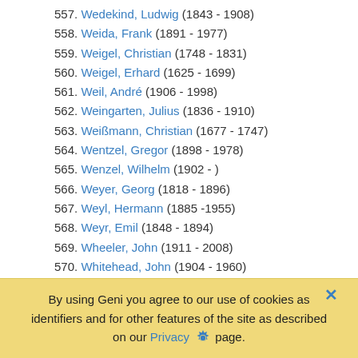557. Wedekind, Ludwig (1843 - 1908)
558. Weida, Frank (1891 - 1977)
559. Weigel, Christian (1748 - 1831)
560. Weigel, Erhard (1625 - 1699)
561. Weil, André (1906 - 1998)
562. Weingarten, Julius (1836 - 1910)
563. Weißmann, Christian (1677 - 1747)
564. Wentzel, Gregor (1898 - 1978)
565. Wenzel, Wilhelm (1902 - )
566. Weyer, Georg (1818 - 1896)
567. Weyl, Hermann (1885 -1955)
568. Weyr, Emil (1848 - 1894)
569. Wheeler, John (1911 - 2008)
570. Whitehead, John (1904 - 1960)
571. Whitehead, George (1918 - 2004)
572. Whitney, Hassler (1907 - 1989)
573. Wichmannshausen, Johann (1663 - 1727)
574. [partially visible]
By using Geni you agree to our use of cookies as identifiers and for other features of the site as described on our Privacy page.